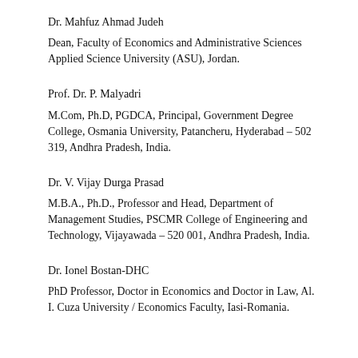Dr. Mahfuz Ahmad Judeh
Dean, Faculty of Economics and Administrative Sciences Applied Science University (ASU), Jordan.
Prof. Dr. P. Malyadri
M.Com, Ph.D, PGDCA, Principal, Government Degree College, Osmania University, Patancheru, Hyderabad – 502 319, Andhra Pradesh, India.
Dr. V. Vijay Durga Prasad
M.B.A., Ph.D., Professor and Head, Department of Management Studies, PSCMR College of Engineering and Technology, Vijayawada – 520 001, Andhra Pradesh, India.
Dr. Ionel Bostan-DHC
PhD Professor, Doctor in Economics and Doctor in Law, Al. I. Cuza University / Economics Faculty, Iasi-Romania.